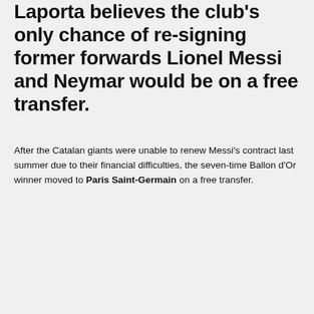Laporta believes the club's only chance of re-signing former forwards Lionel Messi and Neymar would be on a free transfer.
After the Catalan giants were unable to renew Messi's contract last summer due to their financial difficulties, the seven-time Ballon d'Or winner moved to Paris Saint-Germain on a free transfer.